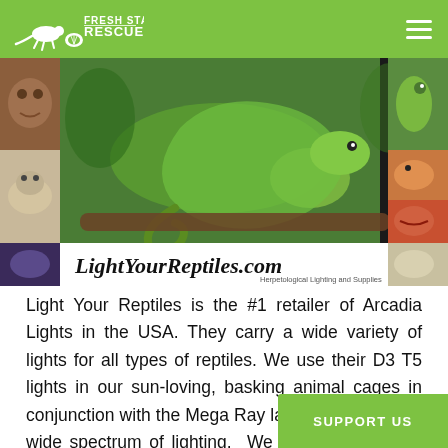Fresh Start Rescue
[Figure (photo): LightYourReptiles.com banner image showing various reptiles including a chameleon, bearded dragon, and other lizards, with the website name and tagline 'Herpetological Lighting and Supplies']
Light Your Reptiles is the #1 retailer of Arcadia Lights in the USA. They carry a wide variety of lights for all types of reptiles. We use their D3 T5 lights in our sun-loving, basking animal cages in conjunction with the Mega Ray lamps to allow for a wide spectrum of lighting. We pl Arcadia lights in our store in the